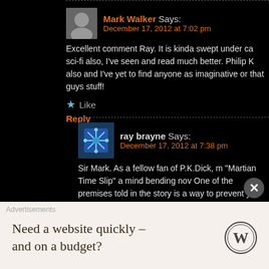Mark Walker Says:
December 17, 2012 at 7:02 pm
Excellent comment Ray. It is kinda swept under ca... sci-fi also, I've seen and read much better. Philip K... also and I've yet to find anyone as imaginative or... that guys stuff!
Like
Reply
ray brayne Says:
December 17, 2012 at 7:38 pm
Sir Mark. As a fellow fan of P.K.Dick, m... "Martian Time Slip" a mind bending nov... One of the premises told in the story is... a way to prevent you from meeting you... story time travels back to a meeting th... only to be murdered on the way. Time c... love Science Fiction!
Like
Advertisements
Need a website quickly – and on a budget?